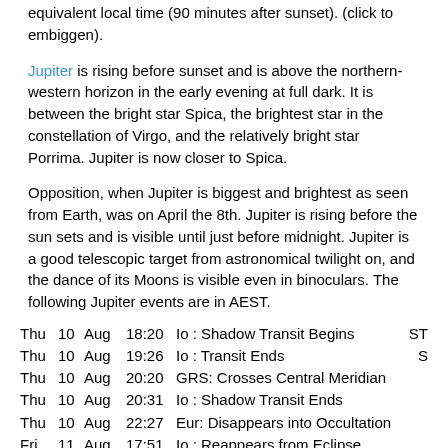equivalent local time (90 minutes after sunset). (click to embiggen).
Jupiter is rising before sunset and is above the northern-western horizon in the early evening at full dark. It is between the bright star Spica, the brightest star in the constellation of Virgo, and the relatively bright star Porrima. Jupiter is now closer to Spica.
Opposition, when Jupiter is biggest and brightest as seen from Earth, was on April the 8th. Jupiter is rising before the sun sets and is visible until just before midnight. Jupiter is a good telescopic target from astronomical twilight on, and the dance of its Moons is visible even in binoculars. The following Jupiter events are in AEST.
| Day | Date | Month | Time | Event | Flag |
| --- | --- | --- | --- | --- | --- |
| Thu | 10 | Aug | 18:20 | Io : Shadow Transit Begins | ST |
| Thu | 10 | Aug | 19:26 | Io : Transit Ends | S |
| Thu | 10 | Aug | 20:20 | GRS: Crosses Central Meridian |  |
| Thu | 10 | Aug | 20:31 | Io : Shadow Transit Ends |  |
| Thu | 10 | Aug | 22:27 | Eur: Disappears into Occultation |  |
| Fri | 11 | Aug | 17:51 | Io : Reappears from Eclipse |  |